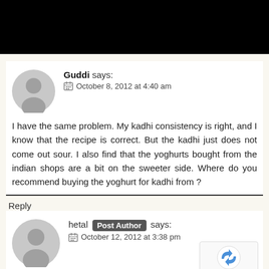Guddi says: October 8, 2012 at 4:40 am
I have the same problem. My kadhi consistency is right, and I know that the recipe is correct. But the kadhi just does not come out sour. I also find that the yoghurts bought from the indian shops are a bit on the sweeter side. Where do you recommend buying the yoghurt for kadhi from ?
Reply
hetal Post Author says: October 12, 2012 at 3:38 pm
Hi Guddi,